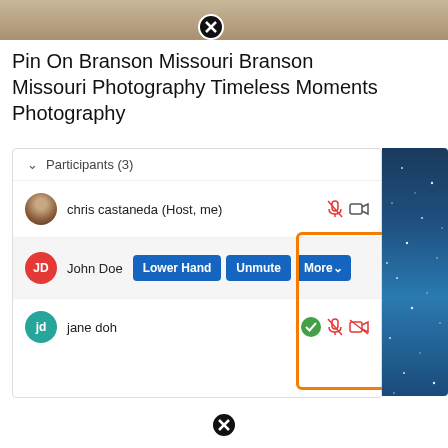[Figure (screenshot): Top portion of a wooden table/surface photo with a close button overlay]
Pin On Branson Missouri Branson Missouri Photography Timeless Moments Photography
[Figure (screenshot): Zoom/video call participants panel showing chris castaneda (Host, me), John Doe with Lower Hand, Unmute, More buttons highlighted in orange box, and jane doh with green checkmark. Right side shows a blue starry night background image.]